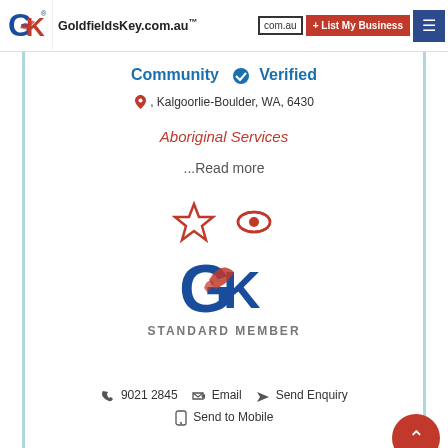GoldfieldsKey.com.au — + List My Business — Menu
Community ✓ Verified
, Kalgoorlie-Boulder, WA, 6430
Aboriginal Services
...Read more
[Figure (logo): GoldfieldsKey Standard Member logo with star and eye icons above]
9021 2845   Email   Send Enquiry
Send to Mobile